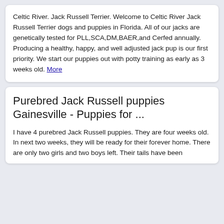Celtic River. Jack Russell Terrier. Welcome to Celtic River Jack Russell Terrier dogs and puppies in Florida. All of our jacks are genetically tested for PLL,SCA,DM,BAER,and Cerfed annually. Producing a healthy, happy, and well adjusted jack pup is our first priority. We start our puppies out with potty training as early as 3 weeks old. More
Purebred Jack Russell puppies Gainesville - Puppies for ...
I have 4 purebred Jack Russell puppies. They are four weeks old. In next two weeks, they will be ready for their forever home. There are only two girls and two boys left. Their tails have been